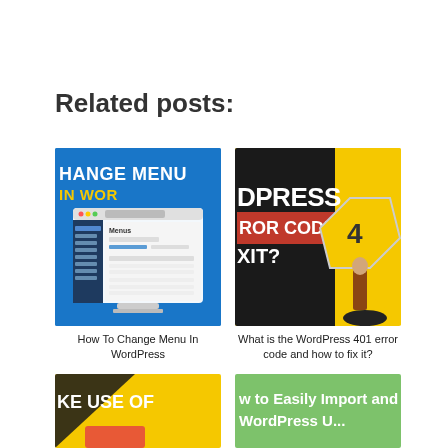Related posts:
[Figure (screenshot): Thumbnail image showing WordPress admin menu settings screen with blue background and text 'CHANGE MENU IN WOR']
How To Change Menu In WordPress
[Figure (screenshot): Thumbnail image with yellow and dark background showing text 'DPRESS ROR CODE XIT?' with a 401 road sign graphic]
What is the WordPress 401 error code and how to fix it?
[Figure (screenshot): Partially visible thumbnail with yellow background and text 'AKE USE OF']
[Figure (screenshot): Partially visible thumbnail with green background and text 'w to Easily Import and WordPress U...']